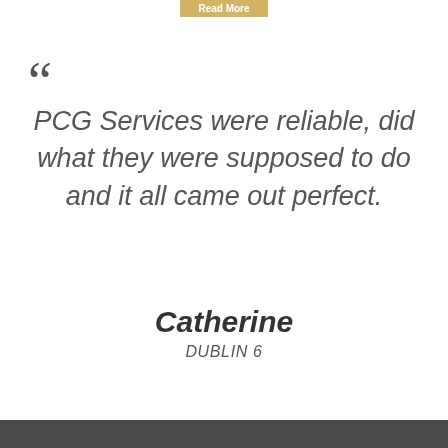[Figure (other): Partially visible gold 'Read More' button at top of page]
“ PCG Services were reliable, did what they were supposed to do and it all came out perfect.
Catherine
DUBLIN 6
Read More